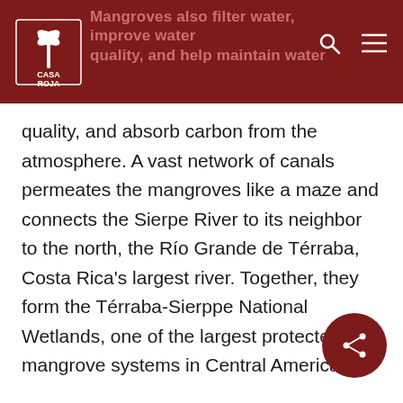Casa Roja — navigation header with logo, search and menu icons
quality, and absorb carbon from the atmosphere. A vast network of canals permeates the mangroves like a maze and connects the Sierpe River to its neighbor to the north, the Río Grande de Térraba, Costa Rica's largest river. Together, they form the Térraba-Sierpe National Wetlands, one of the largest protected mangrove systems in Central America.
As you get closer and closer to the ocean and Casa Roja, the river widens noticeably, stretching nearly a mile from shore to